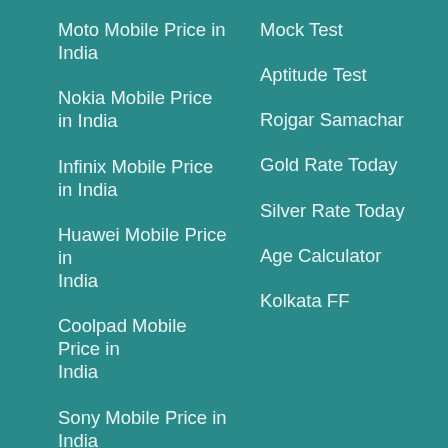Moto Mobile Price in India
Mock Test
Nokia Mobile Price in India
Aptitude Test
Infinix Mobile Price in India
Rojgar Samachar
Huawei Mobile Price in India
Gold Rate Today
Silver Rate Today
Coolpad Mobile Price in India
Age Calculator
Sony Mobile Price in India
Kolkata FF
Micromax Mobile Price in India
Lava Mobile Price in India
Poco Mobile Price in India